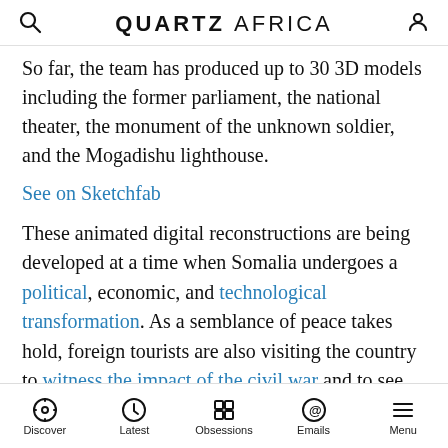QUARTZ AFRICA
So far, the team has produced up to 30 3D models including the former parliament, the national theater, the monument of the unknown soldier, and the Mogadishu lighthouse.
See on Sketchfab
These animated digital reconstructions are being developed at a time when Somalia undergoes a political, economic, and technological transformation. As a semblance of peace takes hold, foreign tourists are also visiting the country to witness the impact of the civil war and to see what remains of historic monuments like the ones SA is recreating. Some memorial sites and government offices have also been renovated, while the nation's first post-civil war memorial is set to be erected
Discover | Latest | Obsessions | Emails | Menu